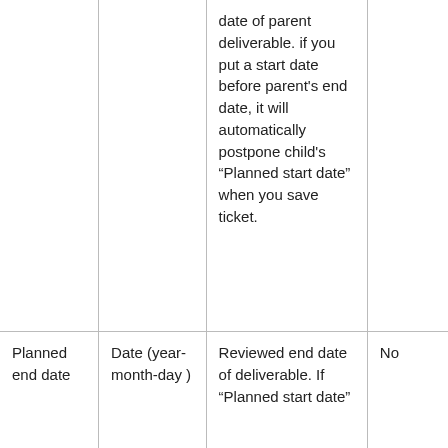|  |  | date of parent deliverable. if you put a start date before parent's end date, it will automatically postpone child's “Planned start date” when you save ticket. |  |
| Planned end date | Date (year-month-day ) | Reviewed end date of deliverable. If “Planned start date” | No |